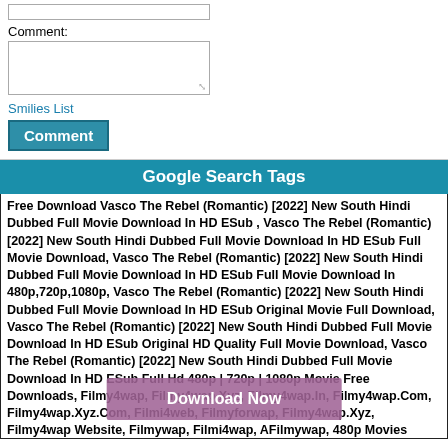Comment:
Smilies List
Comment
Google Search Tags
Free Download Vasco The Rebel (Romantic) [2022] New South Hindi Dubbed Full Movie Download In HD ESub , Vasco The Rebel (Romantic) [2022] New South Hindi Dubbed Full Movie Download In HD ESub Full Movie Download, Vasco The Rebel (Romantic) [2022] New South Hindi Dubbed Full Movie Download In HD ESub Full Movie Download In 480p,720p,1080p, Vasco The Rebel (Romantic) [2022] New South Hindi Dubbed Full Movie Download In HD ESub Original Movie Full Download, Vasco The Rebel (Romantic) [2022] New South Hindi Dubbed Full Movie Download In HD ESub Original HD Quality Full Movie Download, Vasco The Rebel (Romantic) [2022] New South Hindi Dubbed Full Movie Download In HD ESub Full Hd 480p | 720p | 1080p Movie Free Downloads, Filmy4wap, Filmy4wap.Xyz, Filmy4wap.In, Filmy4wap.Com, Filmy4wap.Xyz.Com, Filmi4web, Filmyforwap, Filmy4wap.Xyz, Filmy4wap Website, Filmywap, Filmi4wap, AFilmywap, 480p Movies Download, New Bollywood Movies Download, New South Hindi Dubbed Movies, Filmy4wap Club, Filmy4wap.Club, Filmy4web, Filmy4wap Xyz, Filmy4 Xyz, Filmy4, Filmy4me, Filmygod, Filmy4 Wep, Movie Download, Hindi Dubbed Download, Filmy4wap.Xyz, Afilmy4wap.Com, 300MbMovies, Tamilrockers, Cinevood, Desiren..., 9xmovies, 1080p movies, hd movies, Best quality movies